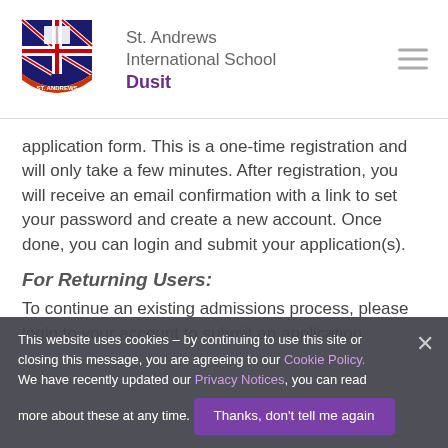[Figure (logo): St. Andrews International School Dusit logo with shield, Union Jack and open book]
St. Andrews International School
Dusit
application form. This is a one-time registration and will only take a few minutes. After registration, you will receive an email confirmation with a link to set your password and create a new account. Once done, you can login and submit your application(s).
For Returning Users:
To continue an existing admissions process, please login to your account to submit an application
This website uses cookies – by continuing to use this site or closing this message, you are agreeing to our Cookie Policy.
We have recently updated our Privacy Notices, you can read more about these at any time.